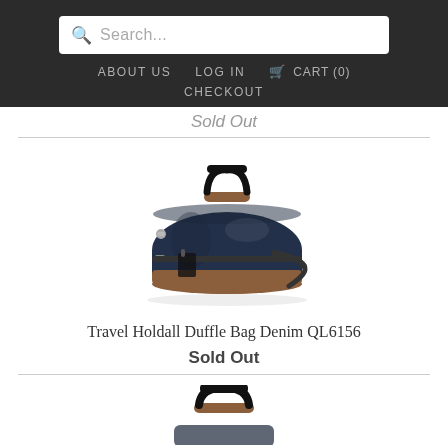Search... | ABOUT US | LOG IN | CART (0) | CHECKOUT
Sold Out
[Figure (photo): Navy blue and tan leather travel holdall duffle bag with black handles and shoulder strap]
Travel Holdall Duffle Bag Denim QL6156
Sold Out
[Figure (photo): Partial view of another duffle bag showing handles at the bottom of the page]